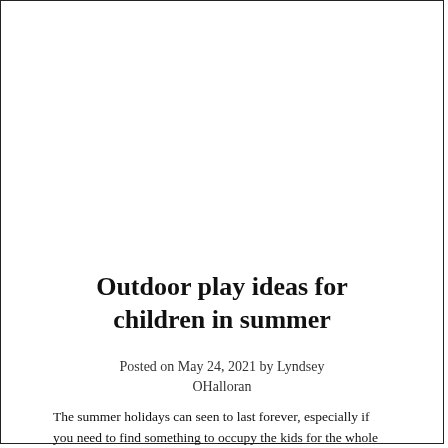Outdoor play ideas for children in summer
Posted on May 24, 2021 by Lyndsey OHalloran
The summer holidays can seen to last forever, especially if you need to find something to occupy the kids for the whole time. If you have a garden this can be a great way to spend time during the day but it's important to make sure your